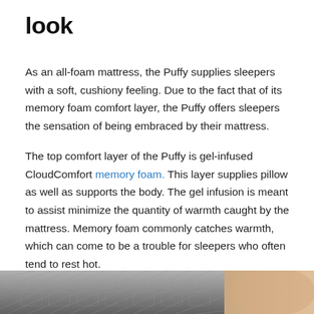look
As an all-foam mattress, the Puffy supplies sleepers with a soft, cushiony feeling. Due to the fact that of its memory foam comfort layer, the Puffy offers sleepers the sensation of being embraced by their mattress.
The top comfort layer of the Puffy is gel-infused CloudComfort memory foam. This layer supplies pillow as well as supports the body. The gel infusion is meant to assist minimize the quantity of warmth caught by the mattress. Memory foam commonly catches warmth, which can come to be a trouble for sleepers who often tend to rest hot.
[Figure (photo): Partial view of a mattress surface with textured fabric, shown at the bottom of the page]